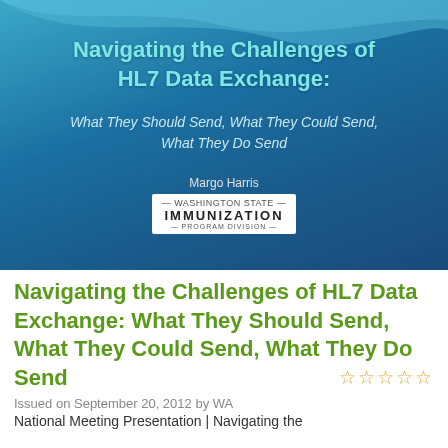[Figure (screenshot): Presentation slide with blue gradient background and wave design. Title: 'Navigating the Challenges of HL7 Data Exchange:' Subtitle: 'What They Should Send, What They Could Send, What They Do Send'. Author: Margo Harris. Washington State Immunization Program logo.]
Navigating the Challenges of HL7 Data Exchange: What They Should Send, What They Could Send, What They Do Send
Issued on September 20, 2012 by WA
National Meeting Presentation | Navigating the